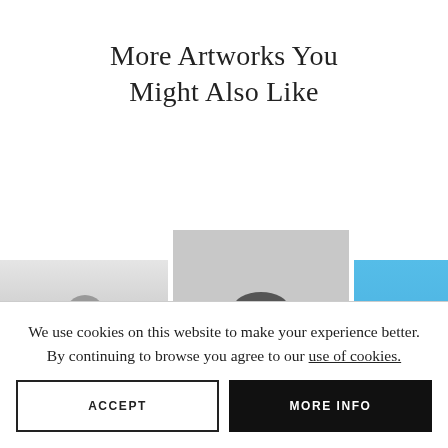More Artworks You Might Also Like
[Figure (photo): Three partially visible photographs of people: a black-and-white photo on the left, a black-and-white photo of a person in a hat in the center, and a color photo with blue sky and a person with outstretched arms on the right]
We use cookies on this website to make your experience better. By continuing to browse you agree to our use of cookies.